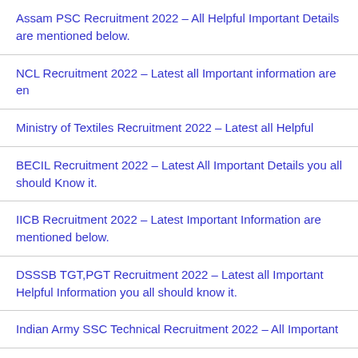Assam PSC Recruitment 2022 – All Helpful Important Details are mentioned below.
NCL Recruitment 2022 – Latest all Important information are en
Ministry of Textiles Recruitment 2022 – Latest all Helpful
BECIL Recruitment 2022 – Latest All Important Details you all should Know it.
IICB Recruitment 2022 – Latest Important Information are mentioned below.
DSSSB TGT,PGT Recruitment 2022 – Latest all Important Helpful Information you all should know it.
Indian Army SSC Technical Recruitment 2022 – All Important